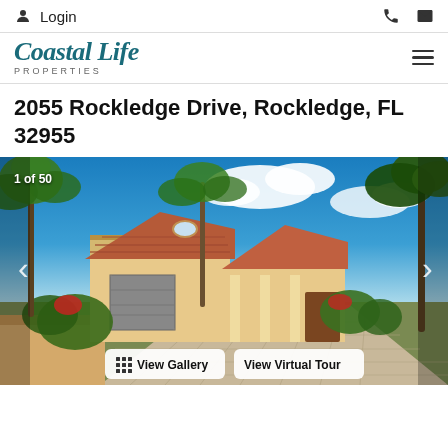Login
[Figure (logo): Coastal Life Properties logo]
2055 Rockledge Drive, Rockledge, FL 32955
[Figure (photo): Exterior photo of 2055 Rockledge Drive property, showing Mediterranean-style home with palm trees, paver driveway, and garage. Counter shows 1 of 50.]
View Gallery | View Virtual Tour